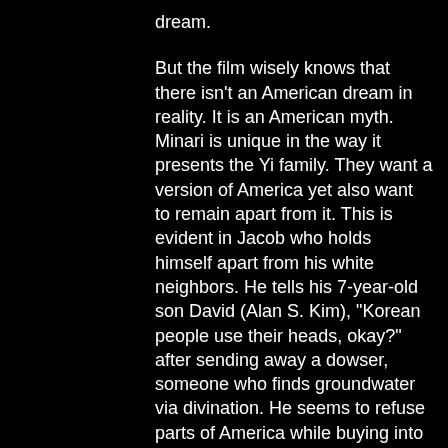dream.
But the film wisely knows that there isn't an American dream in reality. It is an American myth. Minari is unique in the way it presents the Yi family. They want a version of America yet also want to remain apart from it. This is evident in Jacob who holds himself apart from his white neighbors. He tells his 7-year-old son David (Alan S. Kim), "Korean people use their heads, okay?" after sending away a dowser, someone who finds groundwater via divination. He seems to refuse parts of America while buying into its promise.
Minari benefits from Chung's patient